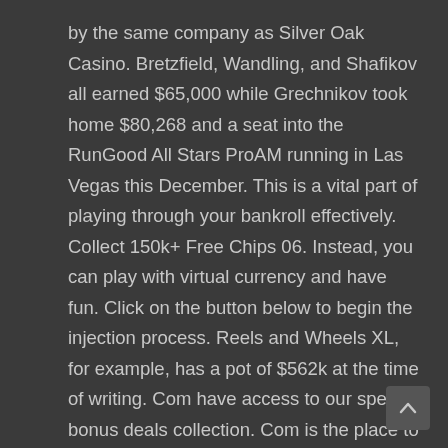by the same company as Silver Oak Casino. Bretzfield, Wandling, and Shafikov all earned $65,000 while Grechnikov took home $80,268 and a seat into the RunGood All Stars ProAM running in Las Vegas this December. This is a vital part of playing through your bankroll effectively. Collect 150k+ Free Chips 06. Instead, you can play with virtual currency and have fun. Click on the button below to begin the injection process. Reels and Wheels XL, for example, has a pot of $562k at the time of writing. Com have access to our special bonus deals collection. Com is the place to be. 777 Grand AvenueOnamia, MN 56359800 626 5825Directions ››. You must choose how much yo prepared to spend on a given day or week and then
[Figure (other): Scroll-to-top button with upward chevron arrow icon]